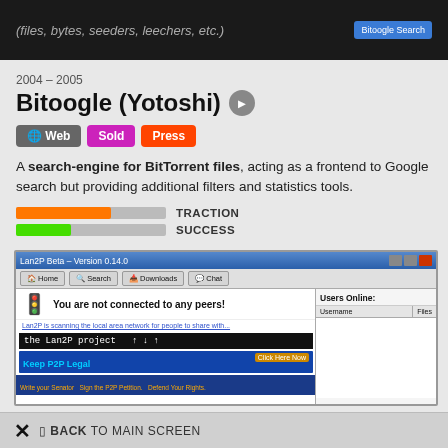[Figure (screenshot): Dark background screenshot showing text '(files, bytes, seeders, leechers, etc.)' with a Bitoogle Search button]
2004 – 2005
Bitoogle (Yotoshi)
Web | Sold | Press (badge labels)
A search-engine for BitTorrent files, acting as a frontend to Google search but providing additional filters and statistics tools.
[Figure (infographic): Two metric bars: TRACTION (orange, ~63% fill) and SUCCESS (green, ~37% fill)]
[Figure (screenshot): Screenshot of Lan2P Beta Version 0.14.0 application window showing peer connection status and P2P legal banner]
BACK TO MAIN SCREEN